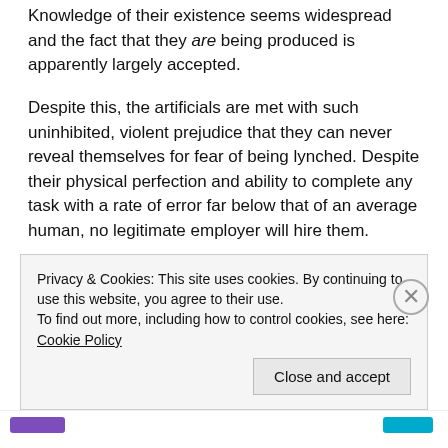Knowledge of their existence seems widespread and the fact that they are being produced is apparently largely accepted.
Despite this, the artificials are met with such uninhibited, violent prejudice that they can never reveal themselves for fear of being lynched. Despite their physical perfection and ability to complete any task with a rate of error far below that of an average human, no legitimate employer will hire them.
This whole concept alone seems like a bit of a farce – it's deployed as an allegory for racism, sexism, insert-your-ism-here, but with humanity already utterly in control of
Privacy & Cookies: This site uses cookies. By continuing to use this website, you agree to their use.
To find out more, including how to control cookies, see here: Cookie Policy
Close and accept